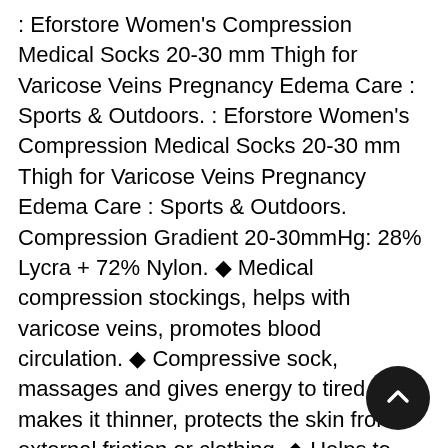: Eforstore Women's Compression Medical Socks 20-30 mm Thigh for Varicose Veins Pregnancy Edema Care : Sports & Outdoors. : Eforstore Women's Compression Medical Socks 20-30 mm Thigh for Varicose Veins Pregnancy Edema Care : Sports & Outdoors. Compression Gradient 20-30mmHg: 28% Lycra + 72% Nylon. ✦ Medical compression stockings, helps with varicose veins, promotes blood circulation. ✦ Compressive sock, massages and gives energy to tired legs, makes it thinner, protects the skin from external friction or clothing. ✦ Helps to eliminate edema in pregnant women, sports protection, well-formed legs, reduction of varicose veins. ✦ Comfortable for the whole day, every day. Suitable for people who often support for long or long periods to maintain an attitude. Please check the size of the information before ordering. ✦ ✦Specification: ✦Product Size:As the descriptions on website. ✦ Compression Gradient 20-0mmHg: 28% Lycra + 2% Nylon. ✦ Medical compression stockings, helps with varicose veins, promotes blood circulation. ✦s to eliminate edema in pregnant women, sports protection, well-formed legs, reduction of varicose